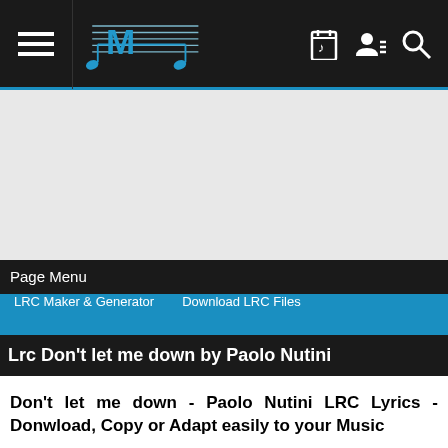[Figure (logo): Megalobiz website navigation bar with hamburger menu, M-logo with music notes in blue, and icons for playlist, user, and search on dark background]
[Figure (other): Gray advertisement/banner area]
Page Menu
LRC Maker & Generator
Download LRC Files
Lrc Don't let me down by Paolo Nutini
Don't let me down - Paolo Nutini LRC Lyrics - Donwload, Copy or Adapt easily to your Music
LRC contents are synchronized by Megalobiz Users via our LRC Generator and controlled by Megalobiz Staff. You may find multiple LRC for the same music and some LRC may not be formatted